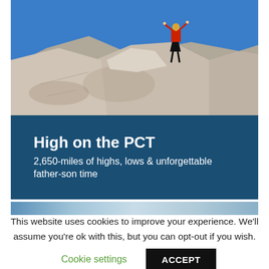[Figure (photo): Woman in red jacket standing on top of large granite boulders with arms raised, blue sky background — PCT hiking scene]
High on the PCT
2,650-miles of highs, lows & unforgettable father-son time
[Figure (photo): Narrow thumbnail strip showing landscape/trail images]
This website uses cookies to improve your experience. We'll assume you're ok with this, but you can opt-out if you wish.
Cookie settings
ACCEPT